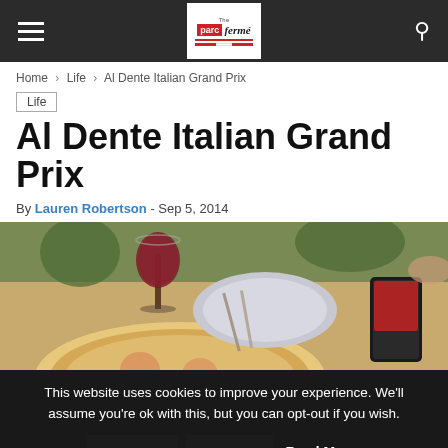The Parc Fermé — navigation header with hamburger menu, logo, and search icon
Home › Life › Al Dente Italian Grand Prix
Life
Al Dente Italian Grand Prix
By Lauren Robertson - Sep 5, 2014
[Figure (photo): Photo of an Italian restaurant table with a pizza, plate, wine glass with red wine, and a mobile phone visible]
This website uses cookies to improve your experience. We'll assume you're ok with this, but you can opt-out if you wish. Accept Reject Read More